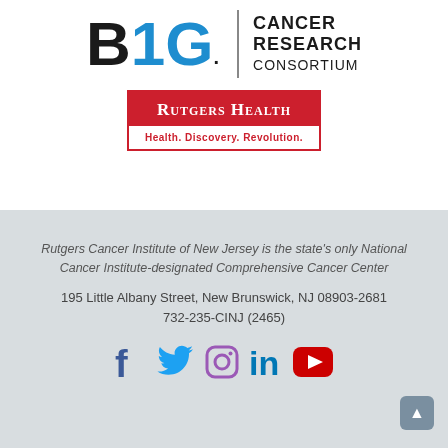[Figure (logo): Big Ten Cancer Research Consortium logo with B1G in black and blue and text 'CANCER RESEARCH CONSORTIUM']
[Figure (logo): Rutgers Health logo with red background box showing 'Rutgers Health' and tagline 'Health. Discovery. Revolution.']
Rutgers Cancer Institute of New Jersey is the state's only National Cancer Institute-designated Comprehensive Cancer Center
195 Little Albany Street, New Brunswick, NJ 08903-2681
732-235-CINJ (2465)
[Figure (infographic): Social media icons: Facebook, Twitter, Instagram, LinkedIn, YouTube]